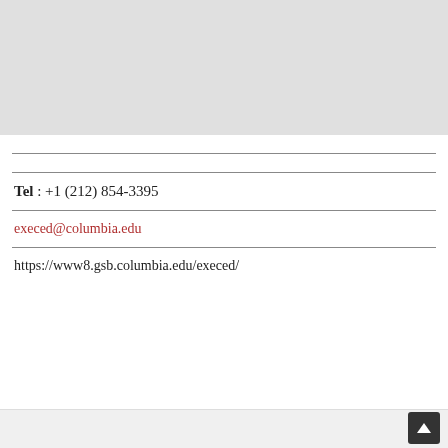[Figure (map): Gray map placeholder area at the top of the page]
Tel : +1 (212) 854-3395
execed@columbia.edu
https://www8.gsb.columbia.edu/execed/